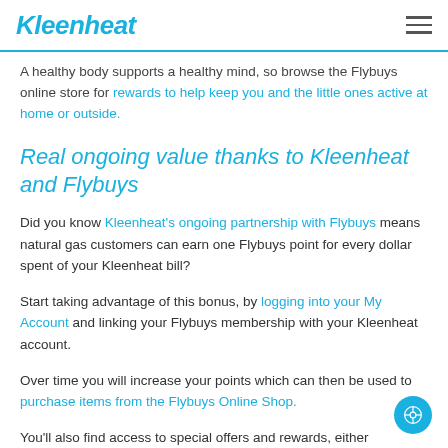Kleenheat
A healthy body supports a healthy mind, so browse the Flybuys online store for rewards to help keep you and the little ones active at home or outside.
Real ongoing value thanks to Kleenheat and Flybuys
Did you know Kleenheat's ongoing partnership with Flybuys means natural gas customers can earn one Flybuys point for every dollar spent of your Kleenheat bill?
Start taking advantage of this bonus, by logging into your My Account and linking your Flybuys membership with your Kleenheat account.
Over time you will increase your points which can then be used to purchase items from the Flybuys Online Shop.
You'll also find access to special offers and rewards, either